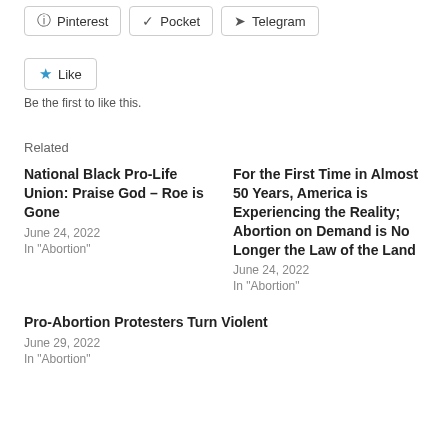[Figure (screenshot): Social sharing buttons: Pinterest, Pocket, Telegram]
[Figure (screenshot): Like button with star icon]
Be the first to like this.
Related
National Black Pro-Life Union: Praise God – Roe is Gone
June 24, 2022
In "Abortion"
For the First Time in Almost 50 Years, America is Experiencing the Reality; Abortion on Demand is No Longer the Law of the Land
June 24, 2022
In "Abortion"
Pro-Abortion Protesters Turn Violent
June 29, 2022
In "Abortion"